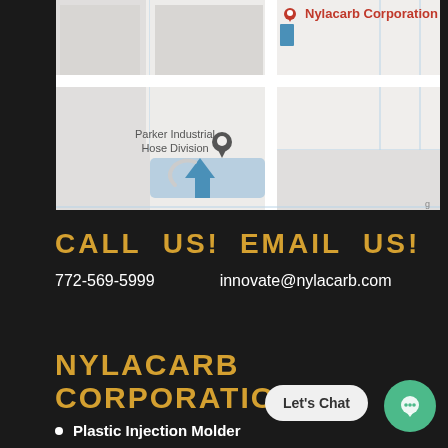[Figure (map): Google Maps screenshot showing location of Nylacarb Corporation near Parker Industrial Hose Division]
CALL US! EMAIL US!
772-569-5999    innovate@nylacarb.com
NYLACARB CORPORATION
Plastic Injection Molder